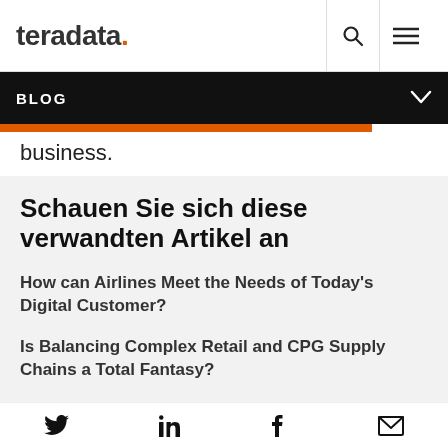teradata. [search icon] [menu icon]
BLOG
business.
Schauen Sie sich diese verwandten Artikel an
How can Airlines Meet the Needs of Today's Digital Customer?
Is Balancing Complex Retail and CPG Supply Chains a Total Fantasy?
Avoiding a Digital Cardiac Arrest
Twitter LinkedIn Facebook Email icons